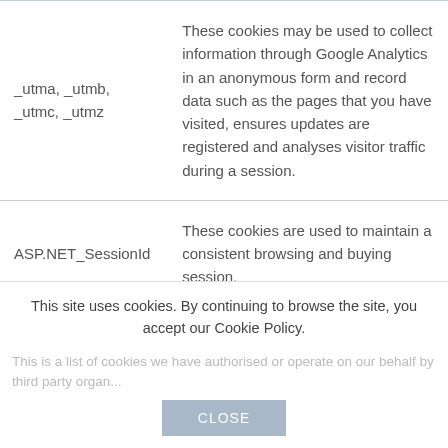| Cookie Name | Description |
| --- | --- |
| _utma, _utmb, _utmc, _utmz | These cookies may be used to collect information through Google Analytics in an anonymous form and record data such as the pages that you have visited, ensures updates are registered and analyses visitor traffic during a session. |
| ASP.NET_SessionId | These cookies are used to maintain a consistent browsing and buying session. |
This site uses cookies. By continuing to browse the site, you accept our Cookie Policy.
This is a list of cookies we have authorised or operate on our behalf by third party organisations.